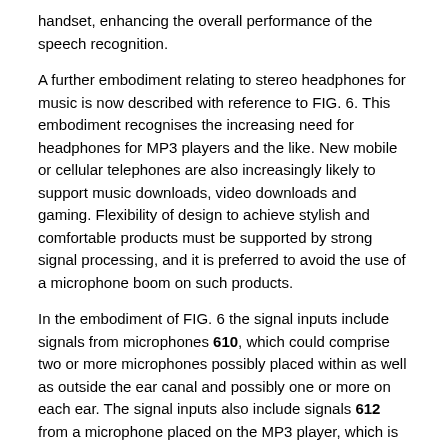handset, enhancing the overall performance of the speech recognition.
A further embodiment relating to stereo headphones for music is now described with reference to FIG. 6. This embodiment recognises the increasing need for headphones for MP3 players and the like. New mobile or cellular telephones are also increasingly likely to support music downloads, video downloads and gaming. Flexibility of design to achieve stylish and comfortable products must be supported by strong signal processing, and it is preferred to avoid the use of a microphone boom on such products.
In the embodiment of FIG. 6 the signal inputs include signals from microphones 610, which could comprise two or more microphones possibly placed within as well as outside the ear canal and possibly one or more on each ear. The signal inputs also include signals 612 from a microphone placed on the MP3 player, which is serving as the base device in the distributed processing system configuration of the present embodiment of the invention. Outputs of the system of FIG. 6 include stereo playback signal 614, which is primarily music in this embodiment. Sound sources in the acoustic environment include noise such as environmental, music, other voices, wind, etc, and also include the stereo signal 614 as played out through the speakers.
The embodiment of FIG. 6 further provides for signal processing, distributed